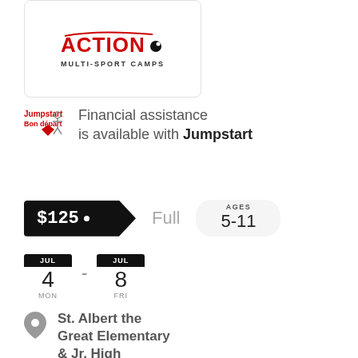[Figure (logo): Action Multi-Sport Camps logo — red stylized ACTION text with bullet/ball icon, subtitle MULTI-SPORT CAMPS in black]
Financial assistance is available with Jumpstart
$125 Full AGES 5-11
JUL 4 MON - JUL 8 FRI
St. Albert the Great Elementary & Jr. High 225 Prestwick Ave